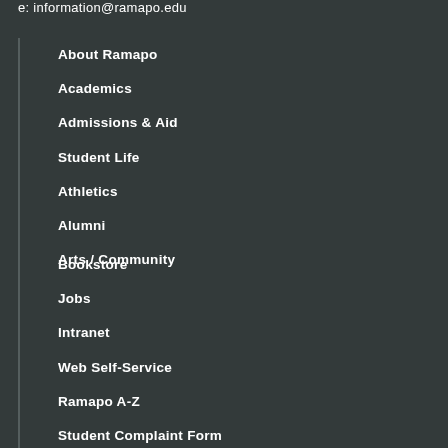e: information@ramapo.edu
About Ramapo
Academics
Admissions & Aid
Student Life
Athletics
Alumni
Arts / Community
Bookstore
Jobs
Intranet
Web Self-Service
Ramapo A-Z
Student Complaint Form
Contact Us